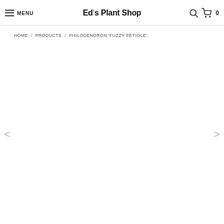MENU  Ed's Plant Shop  [search icon]  [cart icon] 0
HOME / PRODUCTS / PHILODENDRON 'FUZZY PETIOLE'
[Figure (other): Empty product image area with left and right navigation arrows]
< >